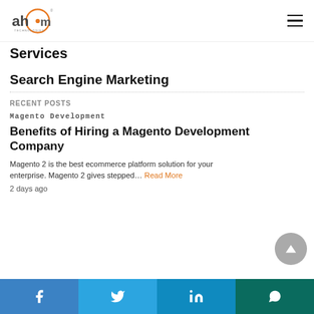ah•m TECHNOLOGIES [logo] [hamburger menu]
…y …g …ng Services
Search Engine Marketing
RECENT POSTS
Magento Development
Benefits of Hiring a Magento Development Company
Magento 2 is the best ecommerce platform solution for your enterprise. Magento 2 gives stepped… Read More
2 days ago
Facebook | Twitter | LinkedIn | WhatsApp